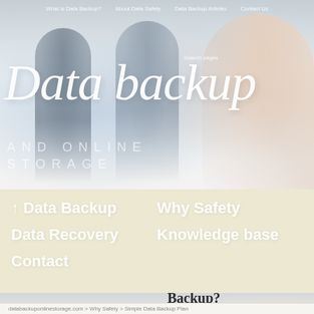What is Data Backup? | About Data Safety | Data Backup Articles | Contact Us
Data backup
AND ONLINE STORAGE
Search pages
Data Backup
Why Safety
Data Recovery
Knowledge base
Contact
Simple Data Backup Plan
How Safe is Online Backup?
databackuponlinestorage.com > Why Safety > Simple Data Backup Plan